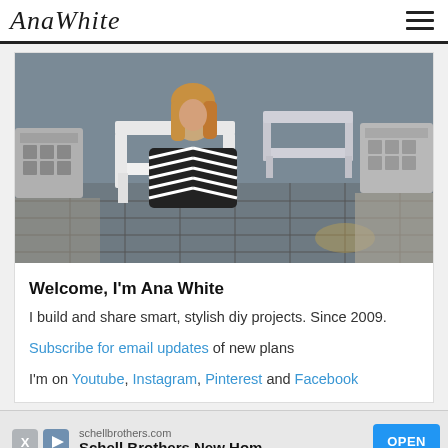AnaWhite
[Figure (photo): Woman sitting in a white modern outdoor chair on a patio with another white modern chair beside her, gray background wall, stone planters, chevron striped clothing]
Welcome, I'm Ana White
I build and share smart, stylish diy projects. Since 2009.
Subscribe for email updates of new plans
I'm on Youtube, Instagram, Pinterest and Facebook
[Figure (other): Advertisement banner: schellbrothers.com - Schell Brothers New Hom[es] with OPEN button]